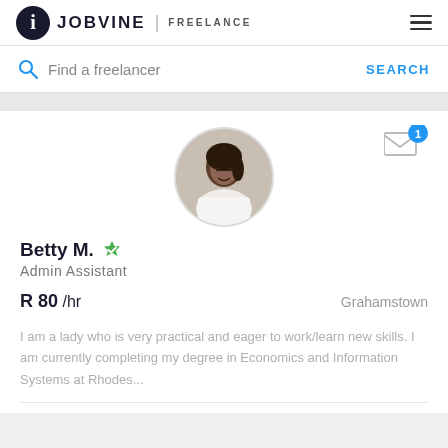JOBVINE | FREELANCE
Find a freelancer   SEARCH
[Figure (photo): Profile photo of Betty M., a young woman in a white top, circular crop]
Betty M.
Admin Assistant
R 80 /hr   Grahamstown
I am a lady who is very practical and eager to work/learn new skills. I am currently completing my degree in Economics and Information Systems at Rhodes...